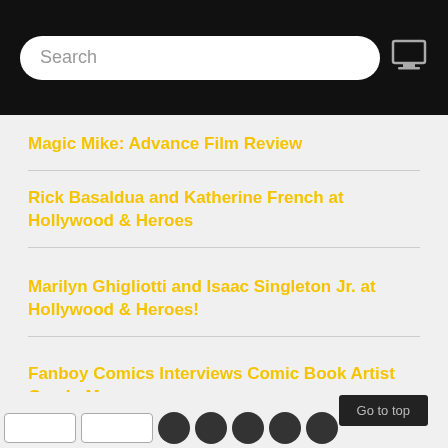Search
Magic Mike: Advance Film Review
Rick Basaldua and Katherine French at Hollywood & Heroes
Marilyn Ghigliotti and Isaac Singleton Jr. at Hollywood & Heroes!
Fanboy Comics Interviews Comic Book Artist Guy LeMay
Go to top